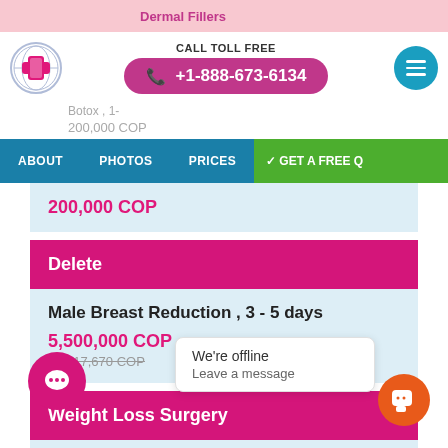[Figure (screenshot): Medical tourism website screenshot showing header with logo, phone number, navigation bar, and price listings for cosmetic surgery procedures]
Dermal Fillers
CALL TOLL FREE
+1-888-673-6134
Botox , 1-
200,000 COP
ABOUT  PHOTOS  PRICES  ✓GET A FREE Q
200,000 COP
Delete
Male Breast Reduction , 3 - 5 days
5,500,000 COP
24,317,670 COP
Weight Loss Surgery
posuction , 5
5,000,000 COP
We're offline
Leave a message